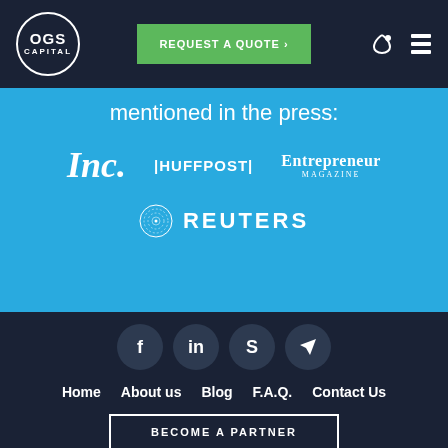[Figure (logo): OGS Capital logo in circle with navigation bar containing REQUEST A QUOTE button and icons]
mentioned in the press:
[Figure (logo): Press logos: Inc., HUFFPOST, Entrepreneur Magazine, Reuters]
[Figure (infographic): Social media icons: Facebook, LinkedIn, Skype, Telegram]
Home
About us
Blog
F.A.Q.
Contact Us
BECOME A PARTNER